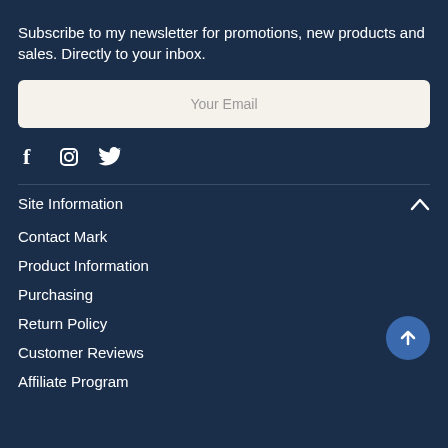Subscribe to my newsletter for promotions, new products and sales. Directly to your inbox.
[Figure (other): Email input field with placeholder text 'Your Email']
[Figure (other): Social media icons: Facebook (f), Instagram, Twitter]
Site Information
Contact Mark
Product Information
Purchasing
Return Policy
Customer Reviews
Affiliate Program